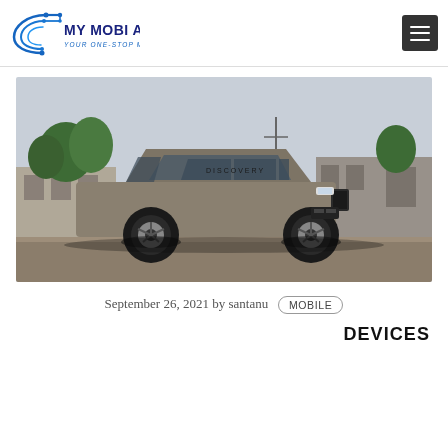MY MOBI APPS — YOUR ONE-STOP MOBILE INFO
[Figure (photo): Land Rover Discovery SUV in tan/grey color parked in an outdoor lot with trees and a building in the background.]
September 26, 2021 by santanu  MOBILE
DEVICES